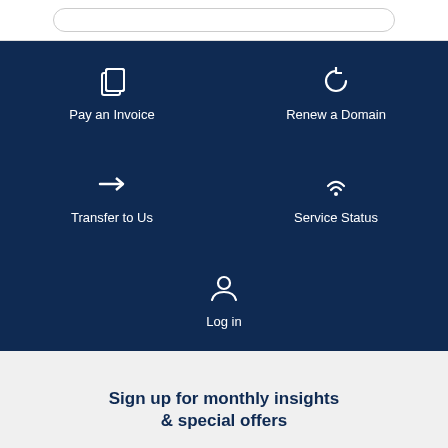[Figure (screenshot): Top white bar with rounded search pill]
[Figure (infographic): Dark navy navigation section with 5 items: Pay an Invoice, Renew a Domain, Transfer to Us, Service Status, Login — each with an icon]
Sign up for monthly insights & special offers
First name
AGENT OFFLINE